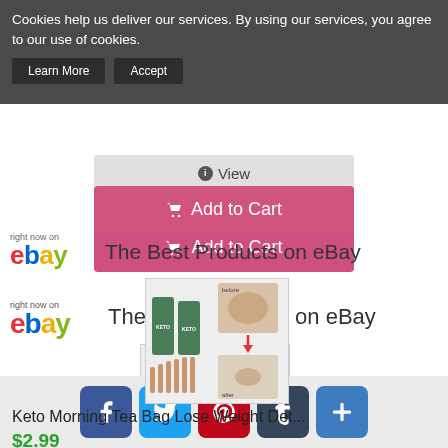Cookies help us deliver our services. By using our services, you agree to our use of cookies.
Learn More | Accept
[Figure (screenshot): View button (grey) and Add to Cart button (pink/magenta) for a product]
[Figure (logo): eBay logo with 'right now on' text above]
The Best Products on eBay
[Figure (photo): Product image: Keto Morning Tea Bag weight loss product showing before and after results]
Keto Morning Tea Bag Lose Weight Det...
$2.99
Social sharing buttons: Facebook, Twitter, Pinterest, Tumblr, More